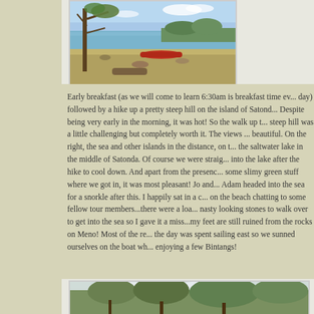[Figure (photo): Beach scene with a tree in foreground, sandy shore, red canoe/boat on beach, calm blue sea and greenery in background]
Early breakfast (as we will come to learn 6:30am is breakfast time every day) followed by a hike up a pretty steep hill on the island of Satonda. Despite being very early in the morning, it was hot! So the walk up the steep hill was a little challenging but completely worth it. The views were beautiful. On the right, the sea and other islands in the distance, on the left the saltwater lake in the middle of Satonda. Of course we were straight into the lake after the hike to cool down. And apart from the presence of some slimy green stuff where we got in, it was most pleasant! Jo and Adam headed into the sea for a snorkle after this. I happily sat in a cafe on the beach chatting to some fellow tour members...there were a load of nasty looking stones to walk over to get into the sea so I gave it a miss...my feet are still ruined from the rocks on Meno! Most of the rest of the day was spent sailing east so we sunned ourselves on the boat while enjoying a few Bintangs!
[Figure (photo): Landscape photo showing trees with overcast sky in background]